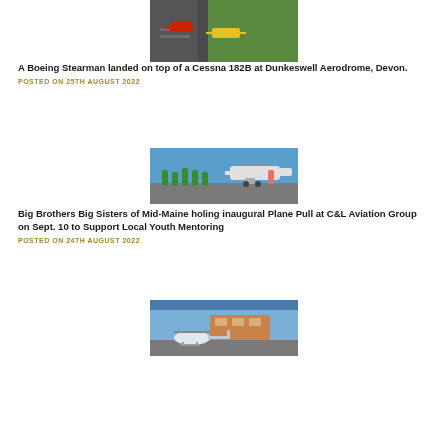[Figure (photo): Aerial view of two aircraft on a runway with green grass beside it]
A Boeing Stearman landed on top of a Cessna 182B at Dunkeswell Aerodrome, Devon.
POSTED ON 25TH AUGUST 2022
[Figure (photo): People in green shirts pulling a jet aircraft on a tarmac]
Big Brothers Big Sisters of Mid-Maine holing inaugural Plane Pull at C&L Aviation Group on Sept. 10 to Support Local Youth Mentoring
POSTED ON 24TH AUGUST 2022
[Figure (photo): Helicopter on a tarmac with a building in the background]